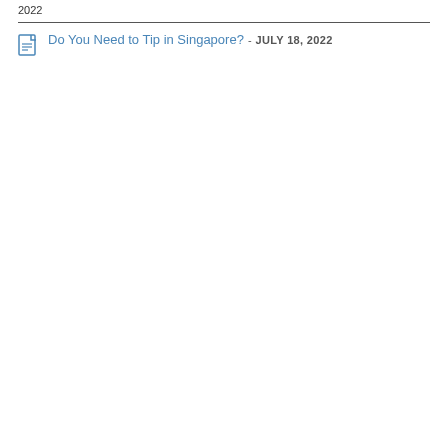2022
Do You Need to Tip in Singapore? - JULY 18, 2022